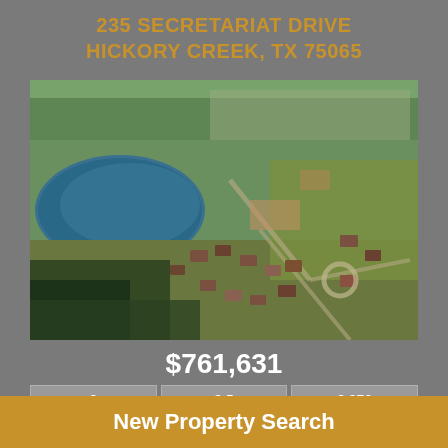235 SECRETARIAT DRIVE
HICKORY CREEK, TX 75065
[Figure (photo): Aerial drone photograph of a residential subdivision in Hickory Creek, TX showing houses under construction, wooded areas, a pond/lake, open lots, and surrounding streets.]
$761,631
| Beds | Baths | SqFt |
| --- | --- | --- |
| 3 | 3.5 | 3,272 |
Active | MLS # 20084184 | Residential | Price Type –
New Property Search